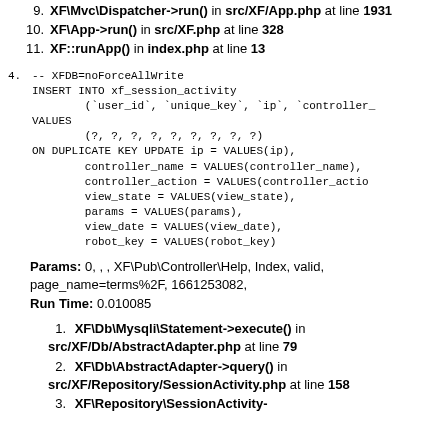9. XF\Mvc\Dispatcher->run() in src/XF/App.php at line 1931
10. XF\App->run() in src/XF.php at line 328
11. XF::runApp() in index.php at line 13
4. -- XFDB=noForceAllWrite
   INSERT INTO xf_session_activity
           (`user_id`, `unique_key`, `ip`, `controller_
   VALUES
           (?, ?, ?, ?, ?, ?, ?, ?, ?)
   ON DUPLICATE KEY UPDATE ip = VALUES(ip),
           controller_name = VALUES(controller_name),
           controller_action = VALUES(controller_actio
           view_state = VALUES(view_state),
           params = VALUES(params),
           view_date = VALUES(view_date),
           robot_key = VALUES(robot_key)
Params: 0, , , XF\Pub\Controller\Help, Index, valid, page_name=terms%2F, 1661253082,
Run Time: 0.010085
1. XF\Db\Mysqli\Statement->execute() in src/XF/Db/AbstractAdapter.php at line 79
2. XF\Db\AbstractAdapter->query() in src/XF/Repository/SessionActivity.php at line 158
3. XF\Repository\SessionActivity->...